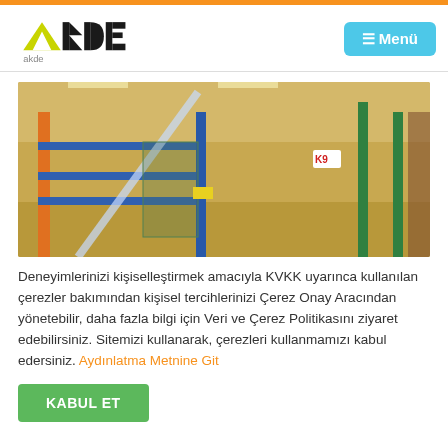AKDE — ≡ Menü
[Figure (photo): Warehouse interior with industrial metal racking/shelving units in blue, orange and green colors inside a building with yellow walls and ceiling lights.]
Deneyimlerinizi kişiselleştirmek amacıyla KVKK uyarınca kullanılan çerezler bakımından kişisel tercihlerinizi Çerez Onay Aracından yönetebilir, daha fazla bilgi için Veri ve Çerez Politikasını ziyaret edebilirsiniz. Sitemizi kullanarak, çerezleri kullanmamızı kabul edersiniz. Aydınlatma Metnine Git
KABUL ET